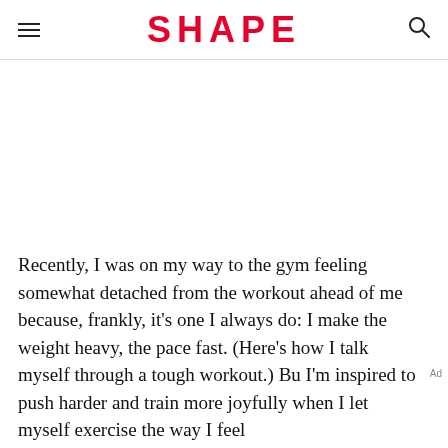SHAPE
Recently, I was on my way to the gym feeling somewhat detached from the workout ahead of me because, frankly, it's one I always do: I make the weight heavy, the pace fast. (Here's how I talk myself through a tough workout.) Bu I'm inspired to push harder and train more joyfully when I let myself exercise the way I feel